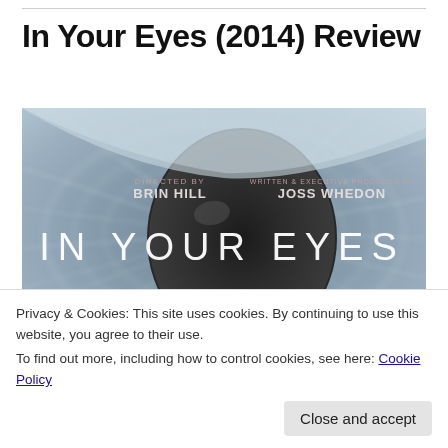In Your Eyes (2014) Review
[Figure (photo): Movie poster for 'In Your Eyes' (2014) showing a close-up of an eye with iris texture. Text on poster reads: DIRECTED BY BRIN HILL | WRITTEN & EXECUTIVE PRODUCED BY JOSS WHEDON | IN YOUR EYES | ZOE KAZAN  MICHAEL STAHL-DAVID]
Privacy & Cookies: This site uses cookies. By continuing to use this website, you agree to their use.
To find out more, including how to control cookies, see here: Cookie Policy
Close and accept